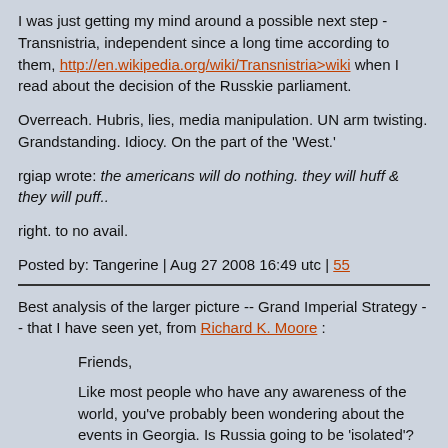I was just getting my mind around a possible next step - Transnistria, independent since a long time according to them, http://en.wikipedia.org/wiki/Transnistria>wiki when I read about the decision of the Russkie parliament.
Overreach. Hubris, lies, media manipulation. UN arm twisting. Grandstanding. Idiocy. On the part of the 'West.'
rgiap wrote: the americans will do nothing. they will huff & they will puff..
right. to no avail.
Posted by: Tangerine | Aug 27 2008 16:49 utc | 55
Best analysis of the larger picture -- Grand Imperial Strategy -- that I have seen yet, from Richard K. Moore :
Friends,
Like most people who have any awareness of the world, you've probably been wondering about the events in Georgia. Is Russia going to be 'isolated'? Is NATO going to expand into Georgia and the Ukraine? Will Russia bomb the missile systems the US is deploying in Poland? Might things spiral out of control into a nuclear exchange? I too have been wondering, and watching the developments carefully...